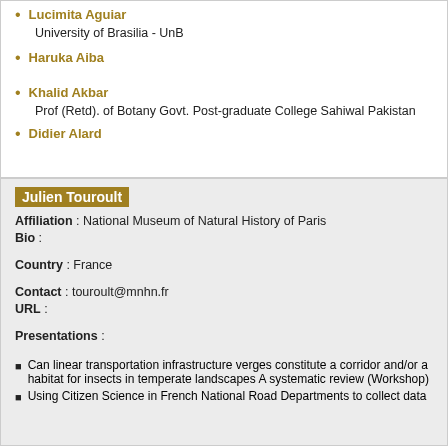Lucimita Aguiar
University of Brasilia - UnB
Haruka Aiba
Khalid Akbar
Prof (Retd). of Botany Govt. Post-graduate College Sahiwal Pakistan
Didier Alard
Julien Touroult
Affiliation : National Museum of Natural History of Paris
Bio :
Country : France
Contact : touroult@mnhn.fr
URL :
Presentations :
Can linear transportation infrastructure verges constitute a corridor and/or a habitat for insects in temperate landscapes A systematic review (Workshop)
Using Citizen Science in French National Road Departments to collect data